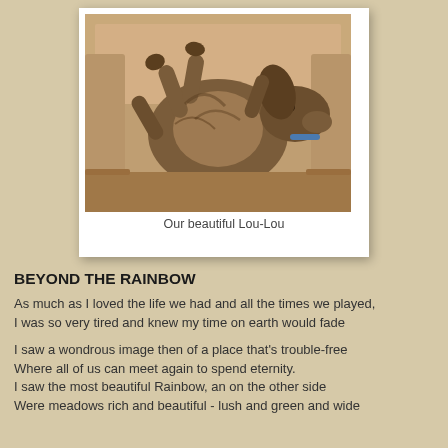[Figure (photo): A dog lying on its back on a beige/tan armchair, relaxed and upside down, wearing a collar.]
Our beautiful Lou-Lou
BEYOND THE RAINBOW
As much as I loved the life we had and all the times we played,
I was so very tired and knew my time on earth would fade
I saw a wondrous image then of a place that's trouble-free
Where all of us can meet again to spend eternity.
I saw the most beautiful Rainbow, an on the other side
Were meadows rich and beautiful - lush and green and wide